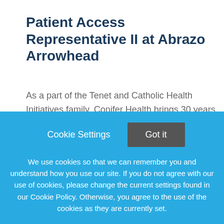Patient Access Representative II at Abrazo Arrowhead
As a part of the Tenet and Catholic Health Initiatives family, Conifer Health brings 30 years of healthcare industry expertise to clients in more than 135 local regions nationwide. We help our clients strengthen their
This job listing is no longer active.
Cookie Settings   Got it
We use cookies so that we can remember you and understand how you use our site. If you do not agree with our use of cookies, please change the current settings found in our Cookie Policy. Otherwise, you agree to the use of the cookies as they are currently set.